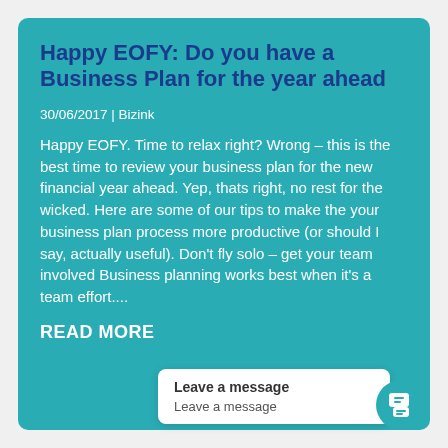Happy EOFY: Do you have a Business Plan for the year ahead
30/06/2017  |  Bizink
Happy EOFY.  Time to relax right? Wrong – this is the best time to review your business plan for the new financial year ahead.  Yep, thats right, no rest for the wicked. Here are some of our tips to make the your business plan process more productive (or should I say, actually useful). Don't fly solo – get your team involved Business planning works best when it's a team effort....
READ MORE
Leave a message
Leave a message